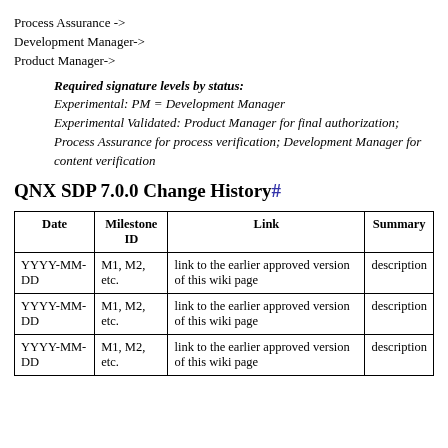Process Assurance ->
Development Manager->
Product Manager->
Required signature levels by status:
Experimental: PM = Development Manager
Experimental Validated: Product Manager for final authorization; Process Assurance for process verification; Development Manager for content verification
QNX SDP 7.0.0 Change History#
| Date | Milestone ID | Link | Summary |
| --- | --- | --- | --- |
| YYYY-MM-DD | M1, M2, etc. | link to the earlier approved version of this wiki page | description |
| YYYY-MM-DD | M1, M2, etc. | link to the earlier approved version of this wiki page | description |
| YYYY-MM-DD | M1, M2, etc. | link to the earlier approved version of this wiki page | description |